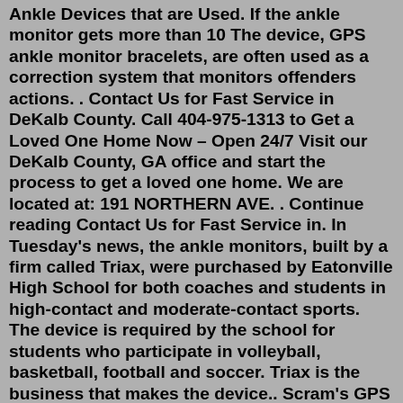Ankle Devices that are Used. If the ankle monitor gets more than 10 The device, GPS ankle monitor bracelets, are often used as a correction system that monitors offenders actions. . Contact Us for Fast Service in DeKalb County. Call 404-975-1313 to Get a Loved One Home Now – Open 24/7 Visit our DeKalb County, GA office and start the process to get a loved one home. We are located at: 191 NORTHERN AVE. . Continue reading Contact Us for Fast Service in. In Tuesday's news, the ankle monitors, built by a firm called Triax, were purchased by Eatonville High School for both coaches and students in high-contact and moderate-contact sports. The device is required by the school for students who participate in volleyball, basketball, football and soccer. Triax is the business that makes the device.. Scram's GPS ankle monitor has the industry's best battery life lasting a full 2 days. Dead batteries leave the offenders un monitored. The simplicity that is designed into the Scram GPS ankle bracelet allows for an easy open strap close strap with nothing in between.. The result